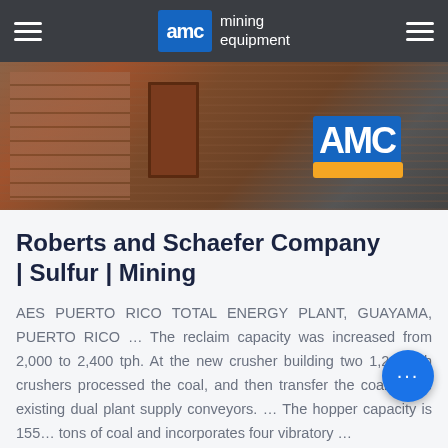AMC mining equipment
[Figure (photo): Outdoor photo showing a brick building with a rusty door and AMC mining equipment sign with orange and blue logo visible on the right side]
Roberts and Schaefer Company | Sulfur | Mining
AES PUERTO RICO TOTAL ENERGY PLANT, GUAYAMA, PUERTO RICO … The reclaim capacity was increased from 2,000 to 2,400 tph. At the new crusher building two 1,200 tph crushers processed the coal, and then transfer the coal to the existing dual plant supply conveyors. … The hopper capacity is 155… tons of coal and incorporates four vibratory …
CONSULT